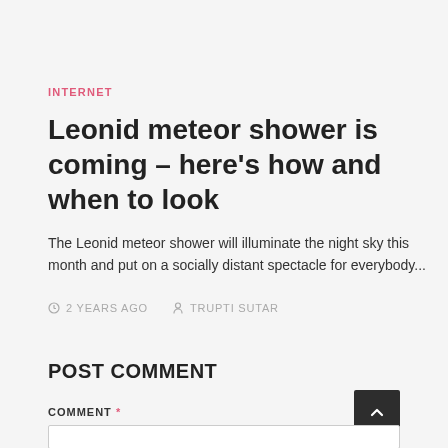INTERNET
Leonid meteor shower is coming – here's how and when to look
The Leonid meteor shower will illuminate the night sky this month and put on a socially distant spectacle for everybody...
2 YEARS AGO   TRUPTI SUTAR
POST COMMENT
COMMENT *